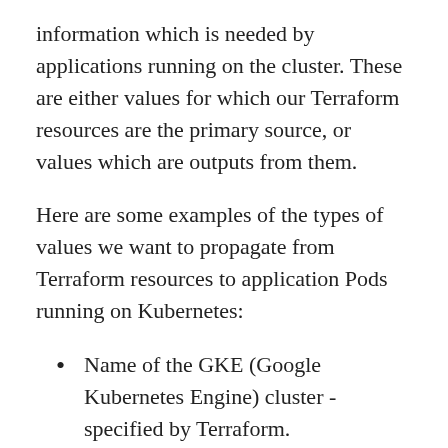information which is needed by applications running on the cluster. These are either values for which our Terraform resources are the primary source, or values which are outputs from them.
Here are some examples of the types of values we want to propagate from Terraform resources to application Pods running on Kubernetes:
Name of the GKE (Google Kubernetes Engine) cluster - specified by Terraform.
Endpoint of the Cloud SQL database - generated by Terraform
Static Client IP address - generated by GCP (Google Cloud Platform)